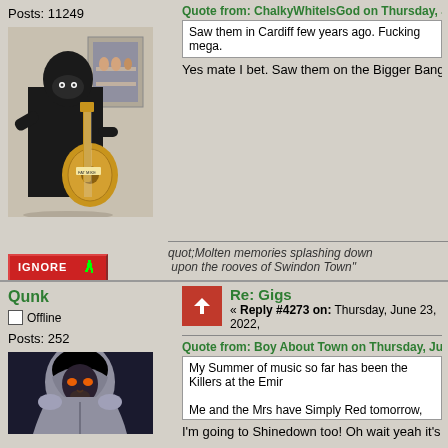Posts: 11249
[Figure (photo): Person dressed in black with a balaclava playing an acoustic guitar, standing against a white wall with a mirror/picture frame in the background]
Saw them in Cardiff few years ago. Fucking mega.
Yes mate I bet. Saw them on the Bigger Bang to
quot;Molten memories splashing down upon the rooves of Swindon Town"
Qunk
Offline
Posts: 252
Re: Gigs
« Reply #4273 on: Thursday, June 23, 2022,
Quote from: Boy About Town on Thursday, June 2
My Summer of music so far has been the Killers at the Emir
Me and the Mrs have Simply Red tomorrow, Red Hot Chilli P of July. Also have Shinedown in November. A lovely array of
I'm going to Shinedown too! Oh wait yeah it's wit
[Figure (photo): Animated character with grey hood/cloak, appears to be from a cartoon or game]